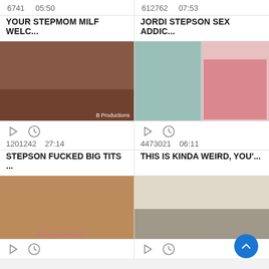6741   05:50
612762   07:53
YOUR STEPMOM MILF WELC...
JORDI STEPSON SEX ADDIC...
[Figure (photo): Video thumbnail showing two people on a bed, B Productions watermark]
[Figure (photo): Video thumbnail showing two people, one in pink lingerie near a shower]
1201242   27:14
4473021   06:11
STEPSON FUCKED BIG TITS ...
THIS IS KINDA WEIRD, YOU'...
[Figure (photo): Video thumbnail showing two women, MommyInControl.com watermark]
[Figure (photo): Video thumbnail showing a person bent over near furniture and TV]